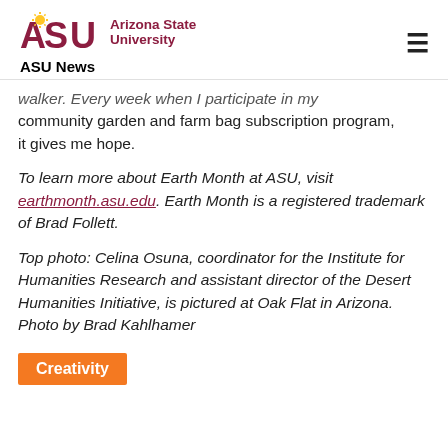Arizona State University ASU News
walker. Every week when I participate in my community garden and farm bag subscription program, it gives me hope.
To learn more about Earth Month at ASU, visit earthmonth.asu.edu. Earth Month is a registered trademark of Brad Follett.
Top photo: Celina Osuna, coordinator for the Institute for Humanities Research and assistant director of the Desert Humanities Initiative, is pictured at Oak Flat in Arizona. Photo by Brad Kahlhamer
Creativity